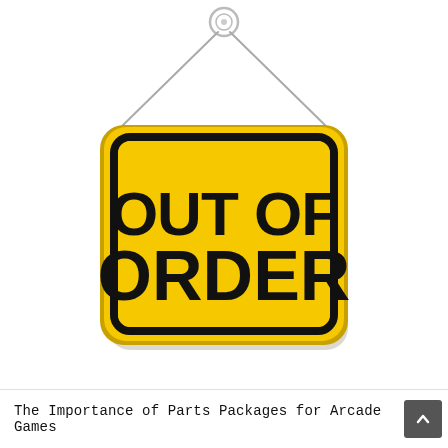[Figure (illustration): An illustration of a yellow rectangular hanging sign with rounded corners and a thick black border, reading 'OUT OF ORDER' in large bold black text, suspended by two strings from a circular hook at the top.]
The Importance of Parts Packages for Arcade Games